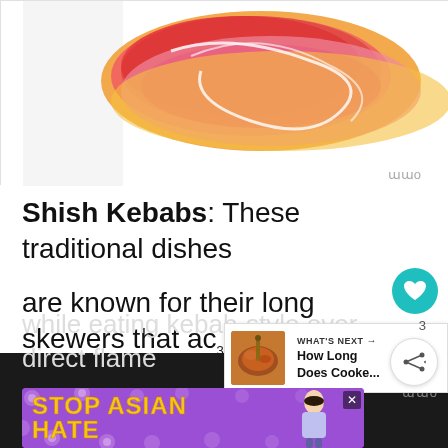[Figure (illustration): Colorful decorative illustration with red, orange, pink swirling design on white background with a small logo watermark in bottom right]
Shish Kebabs: These traditional dishes
are known for their long skewers that ac...
as handles and provide perfect ...
[Figure (other): WHAT'S NEXT panel with kebab food thumbnail and text 'How Long Does Cooke...']
while eating kebab-style over direct flame
[Figure (other): Advertisement banner: STOP ASIAN HATE with purple background, yellow bold text, flower decorations and female figure with close button]